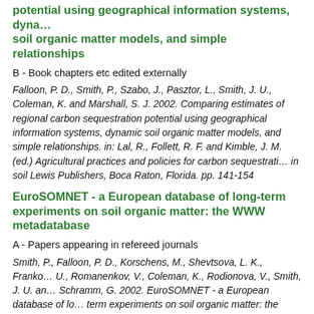potential using geographical information systems, dynamic soil organic matter models, and simple relationships
B - Book chapters etc edited externally
Falloon, P. D., Smith, P., Szabo, J., Pasztor, L., Smith, J. U., Coleman, K. and Marshall, S. J. 2002. Comparing estimates of regional carbon sequestration potential using geographical information systems, dynamic soil organic matter models, and simple relationships. in: Lal, R., Follett, R. F. and Kimble, J. M. (ed.) Agricultural practices and policies for carbon sequestration in soil Lewis Publishers, Boca Raton, Florida. pp. 141-154
EuroSOMNET - a European database of long-term experiments on soil organic matter: the WWW metadatabase
A - Papers appearing in refereed journals
Smith, P., Falloon, P. D., Korschens, M., Shevtsova, L. K., Franko, U., Romanenkov, V., Coleman, K., Rodionova, V., Smith, J. U. and Schramm, G. 2002. EuroSOMNET - a European database of long-term experiments on soil organic matter: the WWW metadatabase. The Journal of Agricultural Science. 138, pp. 1-